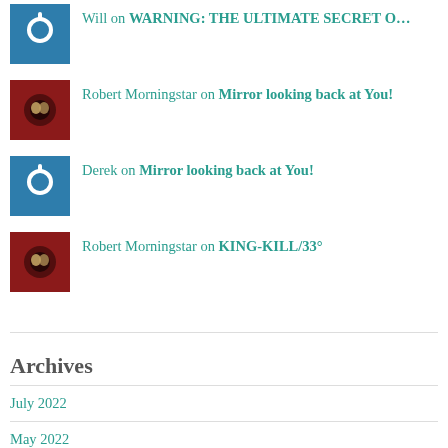Will on WARNING: THE ULTIMATE SECRET O…
Robert Morningstar on Mirror looking back at You!
Derek on Mirror looking back at You!
Robert Morningstar on KING-KILL/33°
Archives
July 2022
May 2022